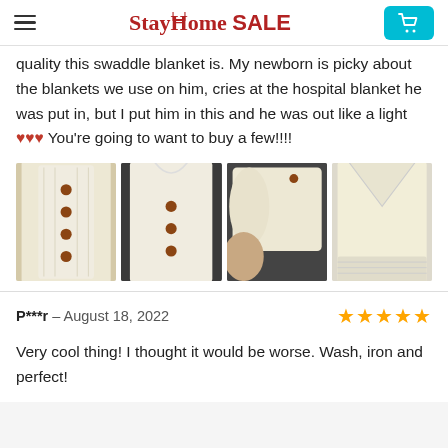StayHome SALE
quality this swaddle blanket is. My newborn is picky about the blankets we use on him, cries at the hospital blanket he was put in, but I put him in this and he was out like a light ❤❤❤ You're going to want to buy a few!!!!
[Figure (photo): Four product photos showing a cream/white knit baby swaddle blanket with buttons from different angles]
P***r – August 18, 2022
Very cool thing! I thought it would be worse. Wash, iron and perfect!